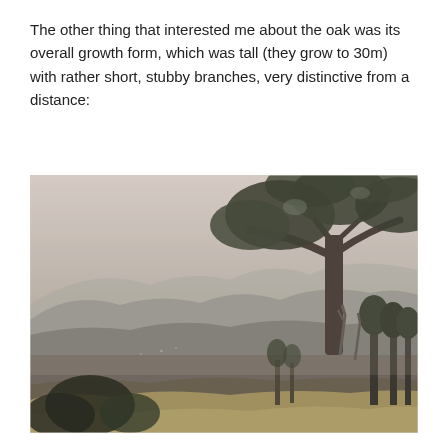The other thing that interested me about the oak was its overall growth form, which was tall (they grow to 30m) with rather short, stubby branches, very distinctive from a distance:
[Figure (photo): A landscape photograph showing a large oak tree with short stubby branches in the foreground on the right side, with a panoramic view of hazy mountains and valleys in the background. Trees and dry grass are visible in the lower portion of the image.]